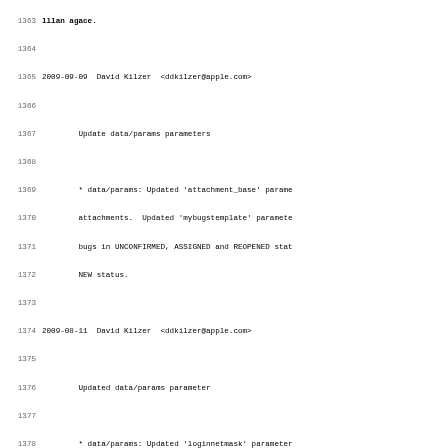Changelog/commit log excerpt, lines 1363-1395, showing entries by David Kilzer for 2009-09-09, 2009-08-11, and 2009-07-07 with update descriptions for data/params, loginnetmask, and BugsSite changes.